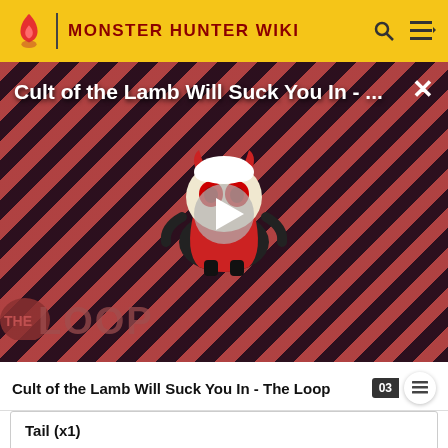MONSTER HUNTER WIKI
[Figure (screenshot): Video player overlay showing 'Cult of the Lamb Will Suck You In - ...' with a cartoon character mascot on a diagonal red/dark striped background with 'THE LOOP' text logo and a play button]
Cult of the Lamb Will Suck You In - The Loop
Tail (x1)
[Figure (photo): Partial image of a monster or creature, green/earthy tones, partially visible at bottom of page]